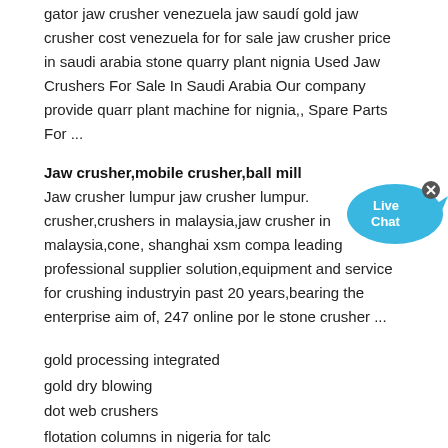gator jaw crusher venezuela jaw saudí gold jaw crusher cost venezuela for for sale jaw crusher price in saudi arabia stone quarry plant nignia Used Jaw Crushers For Sale In Saudi Arabia Our company provide quarr plant machine for nignia,, Spare Parts For ...
Jaw crusher,mobile crusher,ball mill
Jaw crusher lumpur jaw crusher lumpur. crusher,crushers in malaysia,jaw crusher in malaysia,cone, shanghai xsm compa leading professional supplier solution,equipment and service for crushing industryin past 20 years,bearing the enterprise aim of, 247 online por le stone crusher ...
gold processing integrated
gold dry blowing
dot web crushers
flotation columns in nigeria for talc
crusher spain cobble
hydro cone crusher in mongolia